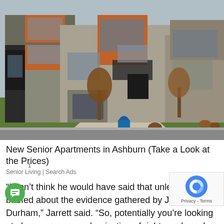[Figure (photo): Photograph of modern two-story residential homes with orange wood paneling, stone facade, and green lawns in a suburban neighborhood.]
New Senior Apartments in Ashburn (Take a Look at the Prices)
Senior Living | Search Ads
“I don’t think he would have said that unless he was briefed about the evidence gathered by John Durham,” Jarrett said. “So, potentially you’re looking at abuse of power, deprivation of rights under color of law, fraud, perjury, and false statements.”